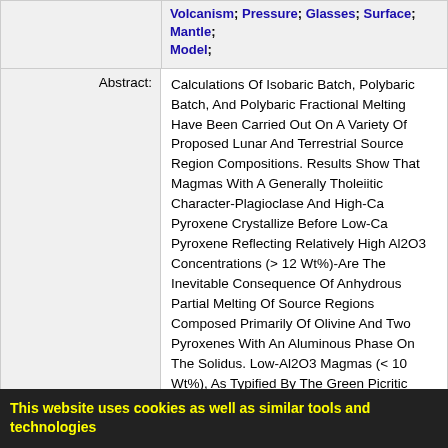Volcanism; Pressure; Glasses; Surface; Mantle; Model;
Abstract: Calculations Of Isobaric Batch, Polybaric Batch, And Polybaric Fractional Melting Have Been Carried Out On A Variety Of Proposed Lunar And Terrestrial Source Region Compositions. Results Show That Magmas With A Generally Tholeiitic Character-Plagioclase And High-Ca Pyroxene Crystallize Before Low-Ca Pyroxene Reflecting Relatively High Al2O3 Concentrations (> 12 Wt%)-Are The Inevitable Consequence Of Anhydrous Partial Melting Of Source Regions Composed Primarily Of Olivine And Two Pyroxenes With An Aluminous Phase On The Solidus. Low-Al2O3 Magmas (< 10 Wt%), As Typified By The Green Picritic Glasses In The Lunar Maria Require Deep (700-1000 Km), Low-Al2O3 Source Regions Without An Aluminous Phase. The Difference Between Primitive And Depleted Mantle Beneath Mid-Ocean Ridges Amounts To Less Than 0.1 Wt% Al2O3, Whereas Formation Of The Green Glass Source Region Requires A Net Loss Of:
This website uses cookies as well as similar tools and technologies